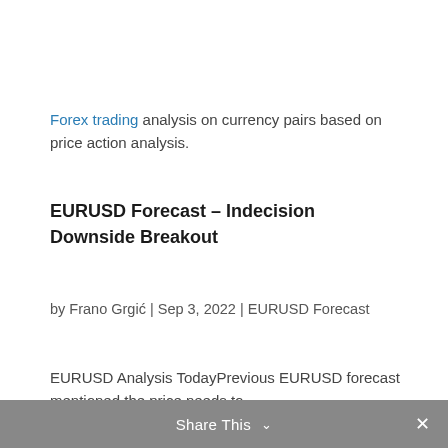Forex trading analysis on currency pairs based on price action analysis.
EURUSD Forecast – Indecision Downside Breakout
by Frano Grgić | Sep 3, 2022 | EURUSD Forecast
EURUSD Analysis TodayPrevious EURUSD forecast mentioned the price needs to
Share This ∨  ✕